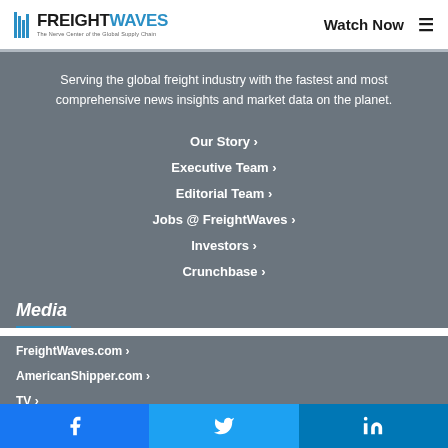FreightWaves – The Nerve Center of the Global Supply Chain | Watch Now
Serving the global freight industry with the fastest and most comprehensive news insights and market data on the planet.
Our Story ›
Executive Team ›
Editorial Team ›
Jobs @ FreightWaves ›
Investors ›
Crunchbase ›
Media
FreightWaves.com ›
AmericanShipper.com ›
TV ›
Facebook | Twitter | LinkedIn